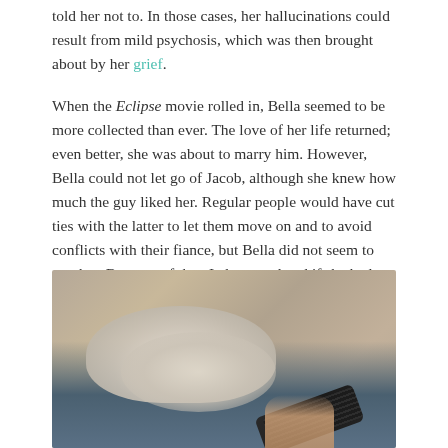told her not to. In those cases, her hallucinations could result from mild psychosis, which was then brought about by her grief.
When the Eclipse movie rolled in, Bella seemed to be more collected than ever. The love of her life returned; even better, she was about to marry him. However, Bella could not let go of Jacob, although she knew how much the guy liked her. Regular people would have cut ties with the latter to let them move on and to avoid conflicts with their fiance, but Bella did not seem to get that. Because of that, I also wondered if she had a dependent personality disorder.
[Figure (photo): A person lying down with white-socked feet resting on a carpeted floor, wearing jeans, holding a TV remote control]